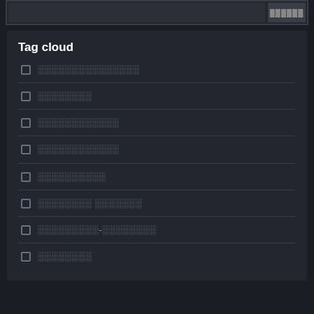Tag cloud
▪ ░░░░░░░░░░░░░░
▪ ░░░░░░░░
▪ ░░░░░░░░░░░░
▪ ░░░░░░░░░░░░
▪ ░░░░░░░░░░
▪ ░░░░░░░░ ░░░░░░░
▪ ░░░░░░░░░-░░░░░░░░
▪ ░░░░░░░░